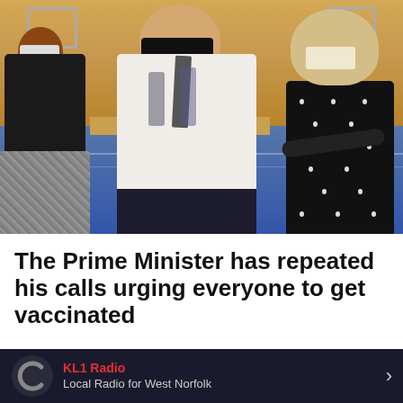[Figure (photo): Prime Minister Boris Johnson wearing a black face mask, in a white shirt and dark trousers, gesturing with his hand in a gymnasium/sports hall setting used as a vaccination centre. He is flanked by two women also wearing face masks — one in a dark top and plaid skirt on the left, and one wearing a hijab and black polka-dot dress on the right.]
The Prime Minister has repeated his calls urging everyone to get vaccinated
KL1 Radio
Local Radio for West Norfolk